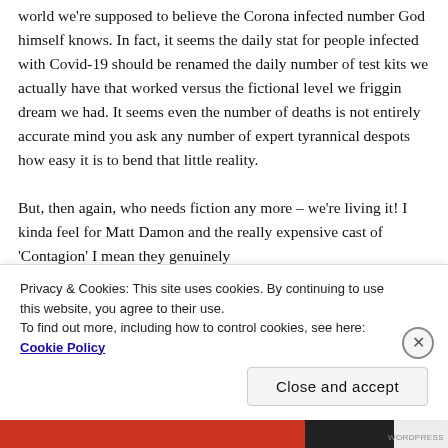world we're supposed to believe the Corona infected number God himself knows. In fact, it seems the daily stat for people infected with Covid-19 should be renamed the daily number of test kits we actually have that worked versus the fictional level we friggin dream we had. It seems even the number of deaths is not entirely accurate mind you ask any number of expert tyrannical despots how easy it is to bend that little reality.

But, then again, who needs fiction any more – we're living it! I kinda feel for Matt Damon and the really expensive cast of 'Contagion' I mean they genuinely
Privacy & Cookies: This site uses cookies. By continuing to use this website, you agree to their use.
To find out more, including how to control cookies, see here: Cookie Policy